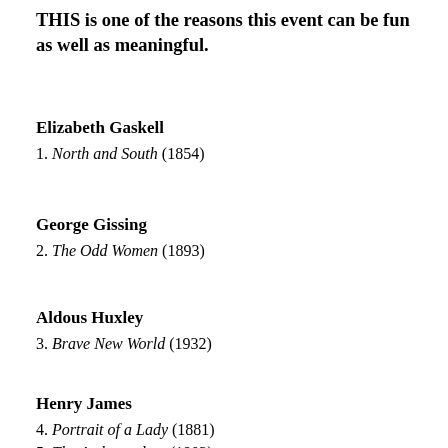THIS is one of the reasons this event can be fun as well as meaningful.
Elizabeth Gaskell
1. North and South (1854)
George Gissing
2. The Odd Women (1893)
Aldous Huxley
3. Brave New World (1932)
Henry James
4. Portrait of a Lady (1881)
5. The Ambassadors (1903)